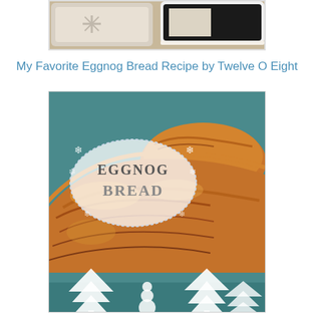[Figure (photo): Photo of decorative Christmas pillows on carpet, partially cropped at top]
My Favorite Eggnog Bread Recipe by Twelve O Eight
[Figure (photo): Photo of eggnog bread loaves in teal baking pans with text overlay reading 'Eggnog Bread' in an oval frame with snowflake decorations, and white Christmas tree and snowman silhouettes at the bottom]